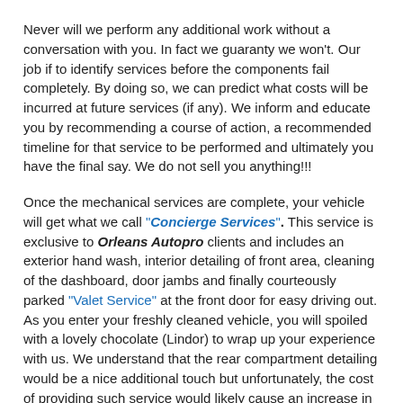Never will we perform any additional work without a conversation with you. In fact we guaranty we won't. Our job if to identify services before the components fail completely. By doing so, we can predict what costs will be incurred at future services (if any). We inform and educate you by recommending a course of action, a recommended timeline for that service to be performed and ultimately you have the final say. We do not sell you anything!!!
Once the mechanical services are complete, your vehicle will get what we call "Concierge Services". This service is exclusive to Orleans Autopro clients and includes an exterior hand wash, interior detailing of front area, cleaning of the dashboard, door jambs and finally courteously parked "Valet Service" at the front door for easy driving out. As you enter your freshly cleaned vehicle, you will spoiled with a lovely chocolate (Lindor) to wrap up your experience with us. We understand that the rear compartment detailing would be a nice additional touch but unfortunately, the cost of providing such service would likely cause an increase in our shop rates. We want to be competitive and create as much value as we can.